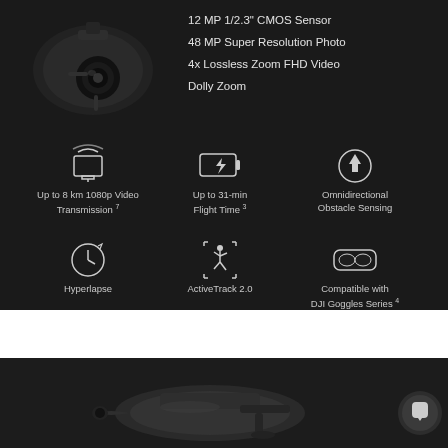[Figure (photo): Close-up photo of DJI drone camera/gimbal in dark background (top-left area)]
12 MP 1/2.3" CMOS Sensor
48 MP Super Resolution Photo
4x Lossless Zoom FHD Video
Dolly Zoom
[Figure (infographic): Icon grid showing 6 drone features: transmission icon, battery icon, obstacle sensing icon, hyperlapse clock icon, activetrack person icon, DJI goggles icon with captions]
Foldable and Portable
Create wherever you go
[Figure (photo): DJI drone folded compact form on dark background, bottom section of page]